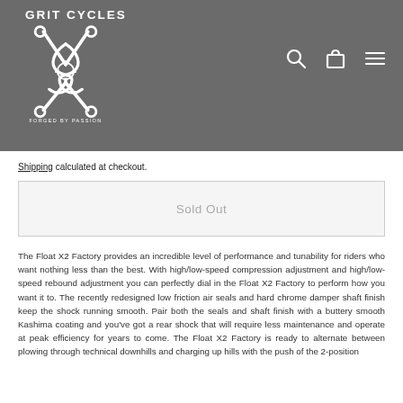GRIT CYCLES — Forged by Passion
Shipping calculated at checkout.
Sold Out
The Float X2 Factory provides an incredible level of performance and tunability for riders who want nothing less than the best. With high/low-speed compression adjustment and high/low-speed rebound adjustment you can perfectly dial in the Float X2 Factory to perform how you want it to. The recently redesigned low friction air seals and hard chrome damper shaft finish keep the shock running smooth. Pair both the seals and shaft finish with a buttery smooth Kashima coating and you've got a rear shock that will require less maintenance and operate at peak efficiency for years to come. The Float X2 Factory is ready to alternate between plowing through technical downhills and charging up hills with the push of the 2-position